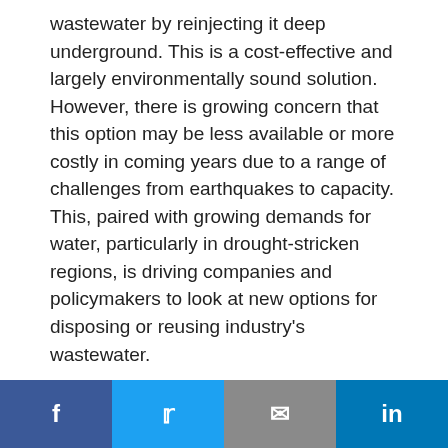wastewater by reinjecting it deep underground. This is a cost-effective and largely environmentally sound solution. However, there is growing concern that this option may be less available or more costly in coming years due to a range of challenges from earthquakes to capacity. This, paired with growing demands for water, particularly in drought-stricken regions, is driving companies and policymakers to look at new options for disposing or reusing industry's wastewater.
These newer options – while promising – are
Social share bar: Facebook, Twitter, Email, LinkedIn